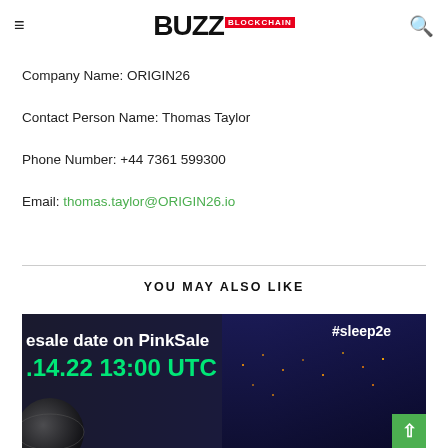BUZZ BLOCKCHAIN
Company Name: ORIGIN26
Contact Person Name: Thomas Taylor
Phone Number: +44 7361 599300
Email: thomas.taylor@ORIGIN26.io
YOU MAY ALSO LIKE
[Figure (photo): Promotional banner for a PinkSale presale event with text 'esale date on PinkSale #sleep2e .14.22 13:00 UTC' on a dark cyberpunk-style background with a globe and city lights]